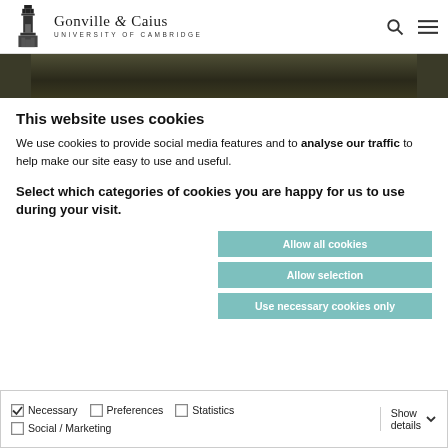Gonville & Caius UNIVERSITY OF CAMBRIDGE
[Figure (photo): Dark decorative header image, appears to be stone or architectural texture]
This website uses cookies
We use cookies to provide social media features and to analyse our traffic to help make our site easy to use and useful.
Select which categories of cookies you are happy for us to use during your visit.
Allow all cookies
Allow selection
Use necessary cookies only
Necessary  Preferences  Statistics  Social / Marketing  Show details